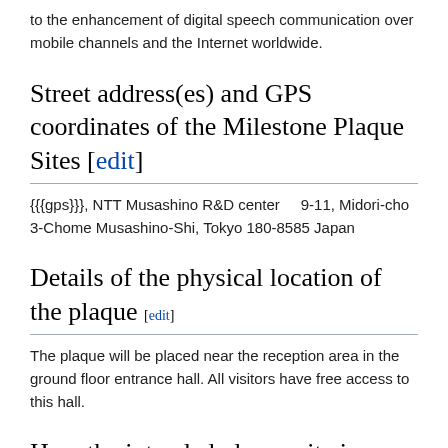to the enhancement of digital speech communication over mobile channels and the Internet worldwide.
Street address(es) and GPS coordinates of the Milestone Plaque Sites [edit]
{{{gps}}}, NTT Musashino R&D center    9-11, Midori-cho 3-Chome Musashino-Shi, Tokyo 180-8585 Japan
Details of the physical location of the plaque [edit]
The plaque will be placed near the reception area in the ground floor entrance hall. All visitors have free access to this hall.
How the intended plaque site is protected/secured [edit]